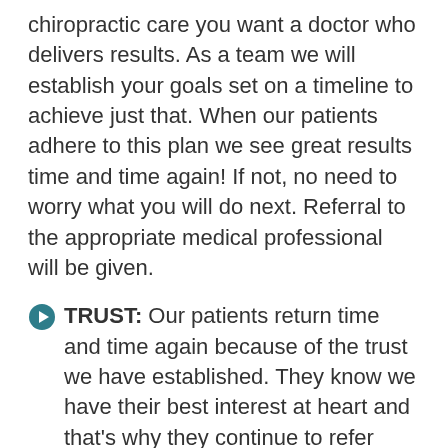chiropractic care you want a doctor who delivers results. As a team we will establish your goals set on a timeline to achieve just that. When our patients adhere to this plan we see great results time and time again! If not, no need to worry what you will do next. Referral to the appropriate medical professional will be given.
TRUST: Our patients return time and time again because of the trust we have established. They know we have their best interest at heart and that’s why they continue to refer their friends and family to our office.
CONVENIENCE: We understand you